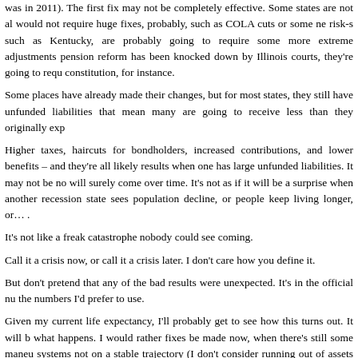was in 2011). The first fix may not be completely effective. Some states are not all would not require huge fixes, probably, such as COLA cuts or some risk-s such as Kentucky, are probably going to require some more extreme adjustments pension reform has been knocked down by Illinois courts, they're going to requ constitution, for instance.
Some places have already made their changes, but for most states, they still have unfunded liabilities that mean many are going to receive less than they originally exp
Higher taxes, haircuts for bondholders, increased contributions, and lower benefits – and they're all likely results when one has large unfunded liabilities. It may not be no will surely come over time. It's not as if it will be a surprise when another recession state sees population decline, or people keep living longer, or… .
It's not like a freak catastrophe nobody could see coming.
Call it a crisis now, or call it a crisis later. I don't care how you define it.
But don't pretend that any of the bad results were unexpected. It's in the official nu the numbers I'd prefer to use.
Given my current life expectancy, I'll probably get to see how this turns out. It will b what happens. I would rather fixes be made now, when there's still some maneu systems not on a stable trajectory (I don't consider running out of assets before all b stable). But I know many of the states will not do it.
That's the benefit of federalism. I can watch what happens to Wisconsin versus Illino